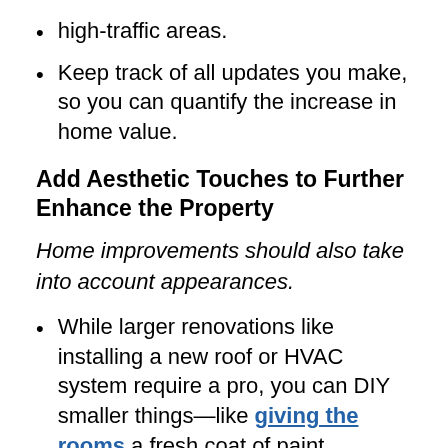high-traffic areas.
Keep track of all updates you make, so you can quantify the increase in home value.
Add Aesthetic Touches to Further Enhance the Property
Home improvements should also take into account appearances.
While larger renovations like installing a new roof or HVAC system require a pro, you can DIY smaller things—like giving the rooms a fresh coat of paint.
Sometimes a simple cleaning is all it takes to get an old house looking like